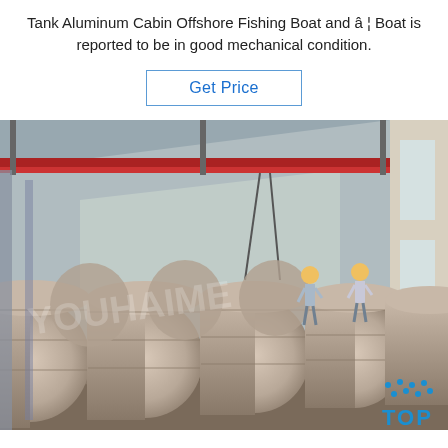Tank Aluminum Cabin Offshore Fishing Boat and â¦ Boat is reported to be in good mechanical condition.
Get Price
[Figure (photo): Warehouse interior with large cylindrical aluminum tanks wrapped in brown packaging material, stacked on pallets. Two workers in yellow hard hats are visible in the background. A red overhead crane spans the ceiling. Watermark text reads 'YOUHAIME' across the image. Blue 'TOP' logo with dot pattern in bottom right corner.]